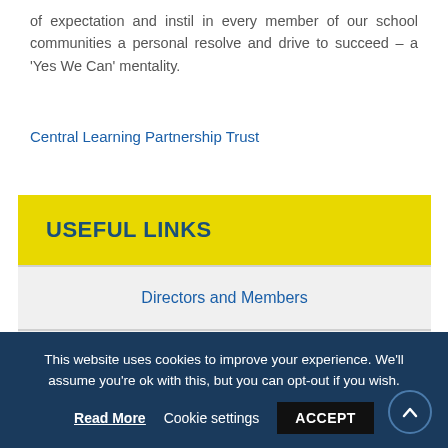of expectation and instil in every member of our school communities a personal resolve and drive to succeed – a 'Yes We Can' mentality.
Central Learning Partnership Trust
USEFUL LINKS
Directors and Members
Financial Accounts
This website uses cookies to improve your experience. We'll assume you're ok with this, but you can opt-out if you wish. Read More Cookie settings ACCEPT